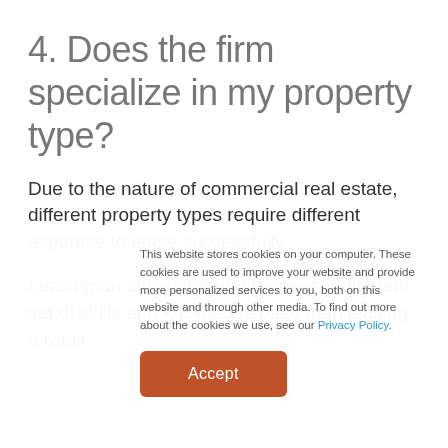4. Does the firm specialize in my property type?
Due to the nature of commercial real estate, different property types require different expertise to lease successfully.
Leasing an office property requires a different set of skills and knowledge base than leasing a retail
This website stores cookies on your computer. These cookies are used to improve your website and provide more personalized services to you, both on this website and through other media. To find out more about the cookies we use, see our Privacy Policy.